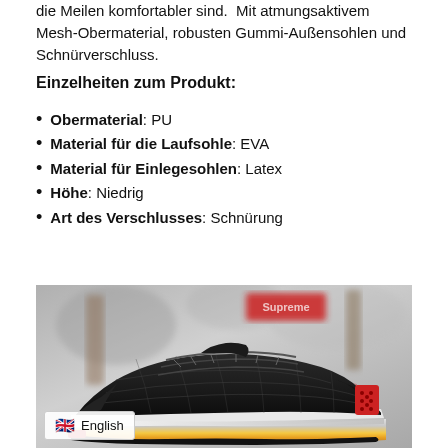die Meilen komfortabler sind. Mit atmungsaktivem Mesh-Obermaterial, robusten Gummi-Außensohlen und Schnürverschluss.
Einzelheiten zum Produkt:
Obermaterial: PU
Material für die Laufsohle: EVA
Material für Einlegesohlen: Latex
Höhe: Niedrig
Art des Verschlusses: Schnürung
[Figure (photo): Black and red athletic sneaker/running shoe displayed on a blurred urban background, with a red brand tag visible in the background.]